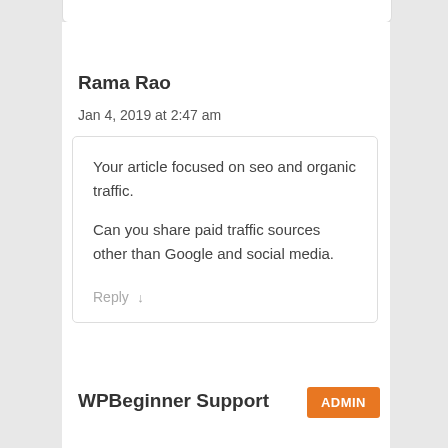Rama Rao
Jan 4, 2019 at 2:47 am
Your article focused on seo and organic traffic.

Can you share paid traffic sources other than Google and social media.
Reply ↓
WPBeginner Support
ADMIN